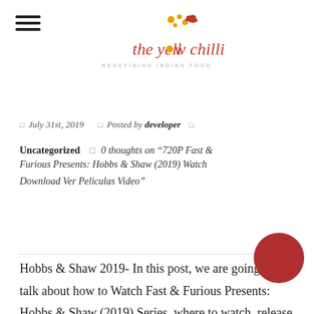[Figure (logo): The Yellow Chilli restaurant logo with tagline REDEFINING INDIAN FOOD]
July 31st, 2019   Posted by developer
Uncategorized   0 thoughts on “720P Fast & Furious Presents: Hobbs & Shaw (2019) Watch Download Ver Peliculas Video”
Hobbs & Shaw 2019- In this post, we are going to talk about how to Watch Fast & Furious Presents: Hobbs & Shaw (2019) Series. where to watch, release date, and spoilers. But before that, I would like to take a quick recap of the